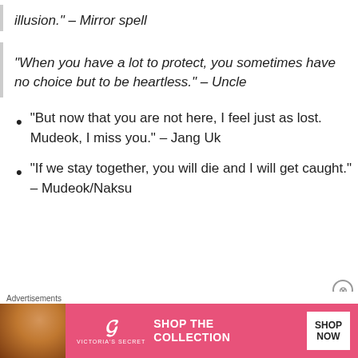illusion." – Mirror spell
"When you have a lot to protect, you sometimes have no choice but to be heartless." – Uncle
"But now that you are not here, I feel just as lost. Mudeok, I miss you." – Jang Uk
"If we stay together, you will die and I will get caught." – Mudeok/Naksu
[Figure (other): Victoria's Secret advertisement banner with pink background, model photo, VS logo, 'SHOP THE COLLECTION' text, and 'SHOP NOW' button]
Advertisements